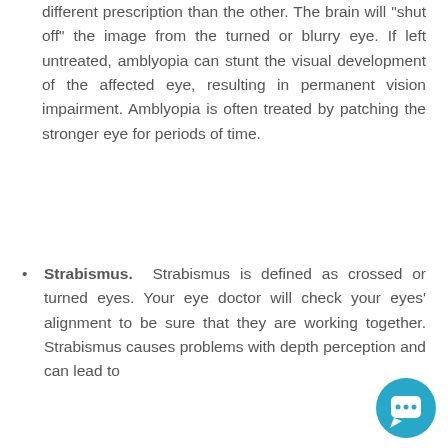different prescription than the other. The brain will "shut off" the image from the turned or blurry eye. If left untreated, amblyopia can stunt the visual development of the affected eye, resulting in permanent vision impairment. Amblyopia is often treated by patching the stronger eye for periods of time.
Strabismus. Strabismus is defined as crossed or turned eyes. Your eye doctor will check your eyes' alignment to be sure that they are working together. Strabismus causes problems with depth perception and can lead to
[Figure (other): Teal circular chat/support button with white speech bubble icon, positioned in the bottom-right corner]